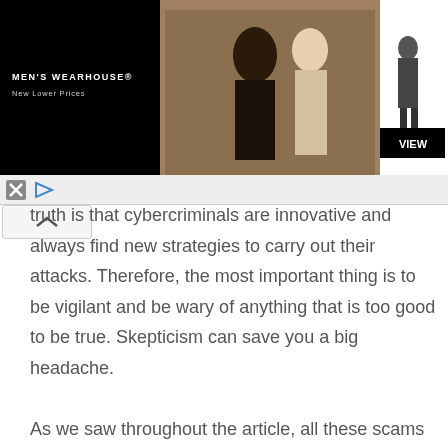[Figure (photo): Men's Wearhouse advertisement banner showing a couple in formal wear and a man in a suit, with 'MEN'S WEARHOUSE New Lower Prices' text and a VIEW button]
truth is that cybercriminals are innovative and always find new strategies to carry out their attacks. Therefore, the most important thing is to be vigilant and be wary of anything that is too good to be true. Skepticism can save you a big headache.

As we saw throughout the article, all these scams involve various vectors, such as users, social networks where NFTs are promoted, tools used to carry out transactions, etc. Each of these vectors has its own